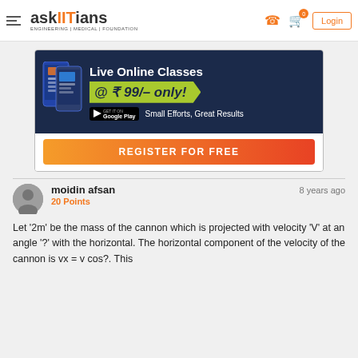askIITians ENGINEERING | MEDICAL | FOUNDATION — Login
[Figure (infographic): askIITians promotional banner: Live Online Classes @ ₹99/- only! Get it on Google Play. Small Efforts, Great Results. REGISTER FOR FREE button.]
moidin afsan — 20 Points — 8 years ago
Let '2m' be the mass of the cannon which is projected with velocity 'V' at an angle '?' with the horizontal. The horizontal component of the velocity of the cannon is vx = v cos?. This